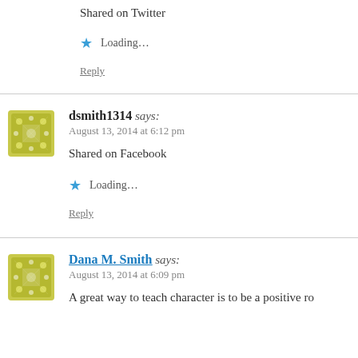Shared on Twitter
Loading...
Reply
dsmith1314 says:
August 13, 2014 at 6:12 pm
Shared on Facebook
Loading...
Reply
Dana M. Smith says:
August 13, 2014 at 6:09 pm
A great way to teach character is to be a positive ro